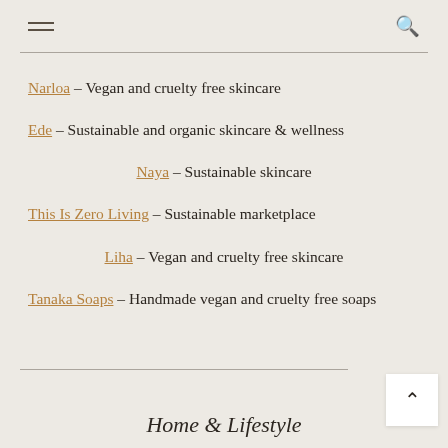Navigation header with hamburger menu and search icon
Narloa – Vegan and cruelty free skincare
Ede – Sustainable and organic skincare & wellness
Naya – Sustainable skincare
This Is Zero Living – Sustainable marketplace
Liha – Vegan and cruelty free skincare
Tanaka Soaps – Handmade vegan and cruelty free soaps
Home & Lifestyle